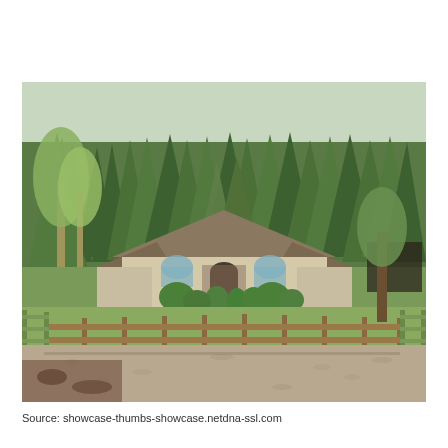[Figure (photo): Exterior photograph of a single-story ranch-style house with a brown/tan facade and arched entry, surrounded by tall evergreen pine trees and deciduous trees. In the foreground are wooden post-and-rail fences forming a corral or paddock along a gravel driveway. Green metal pipe gate visible on the left side. The property has landscaped shrubs near the home entrance.]
Source: showcase-thumbs-showcase.netdna-ssl.com